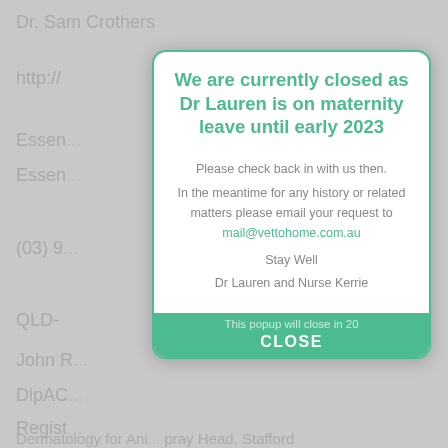Dr. Sam Crothers
http://
Essen
Essen
(03) 9
QLD-
John R
DipAC
Regist
Dermatology for Ani... pray Head, Stafford Heights, Queensland A...
[Figure (screenshot): Modal popup dialog with teal/green border on a greyed-out background. Title in teal bold text: 'We are currently closed as Dr Lauren is on maternity leave until early 2023'. Body text in grey: 'Please check back in with us then. In the meantime for any history or related matters please email your request to mail@vettohome.com.au. Stay Well. Dr Lauren and Nurse Kerrie'. Footer with teal background shows 'This popup will close in 20' and a CLOSE button.]